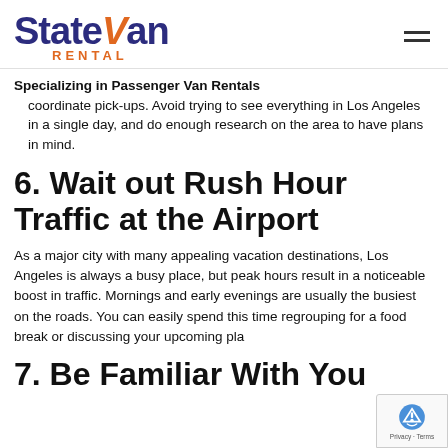[Figure (logo): StateVan Rental logo with dark blue text and orange slash/V mark and orange RENTAL subtitle]
Specializing in Passenger Van Rentals
coordinate pick-ups. Avoid trying to see everything in Los Angeles in a single day, and do enough research on the area to have plans in mind.
6. Wait out Rush Hour Traffic at the Airport
As a major city with many appealing vacation destinations, Los Angeles is always a busy place, but peak hours result in a noticeable boost in traffic. Mornings and early evenings are usually the busiest on the roads. You can easily spend this time regrouping for a food break or discussing your upcoming pla
7. Be Familiar With You